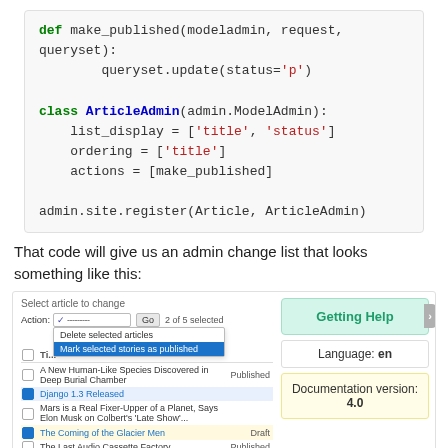[Figure (screenshot): Code block showing Python code: def make_published function and class ArticleAdmin with list_display, ordering, actions, and admin.site.register call]
That code will give us an admin change list that looks something like this:
[Figure (screenshot): Django admin interface screenshot showing article change list with dropdown actions menu open showing 'Delete selected articles' and 'Mark selected stories as published', alongside Getting Help button, Language: en box, and Documentation version: 4.0 box]